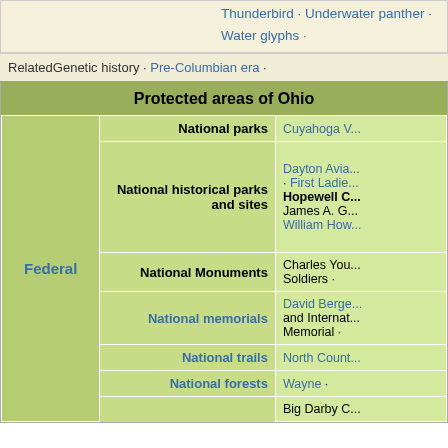Stickball · Three Sisters agriculture · Thunderbird · Underwater panther · Water glyphs ·
RelatedGenetic history · Pre-Columbian era ·
Protected areas of Ohio
|  | Category | Items |
| --- | --- | --- |
| Federal | National parks | Cuyahoga V... |
|  | National historical parks and sites | Dayton Avia... · First Ladie... Hopewell C... James A. G... William How... |
|  | National Monuments | Charles You... Soldiers · |
|  | National memorials | David Berge... and Internat... Memorial · |
|  | National trails | North Count... |
|  | National forests | Wayne · |
|  |  | Big Darby C... |